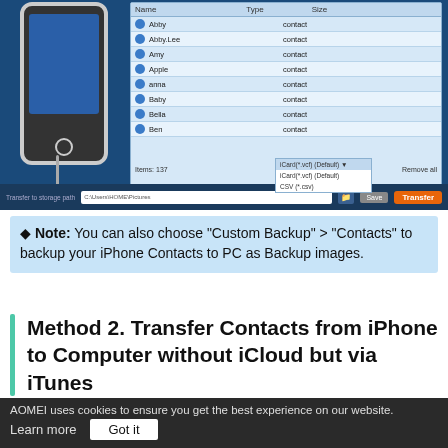[Figure (screenshot): Screenshot of a software application (likely AOMEI) showing iPhone contacts transfer interface. A panel lists contacts: Abby, Abby.Lee, Amy, Apple, anna, Baby, Bella, Ben — all of type 'contact'. A dropdown shows export format options: iCard(*.vcf) (Default), CSV (*.csv). Bottom bar shows transfer to storage path with a Transfer button.]
◆ Note: You can also choose "Custom Backup" > "Contacts" to backup your iPhone Contacts to PC as Backup images.
Method 2. Transfer Contacts from iPhone to Computer without iCloud but via iTunes
You may know that iTunes can help us backup all iPhone
AOMEI uses cookies to ensure you get the best experience on our website. Learn more   Got it